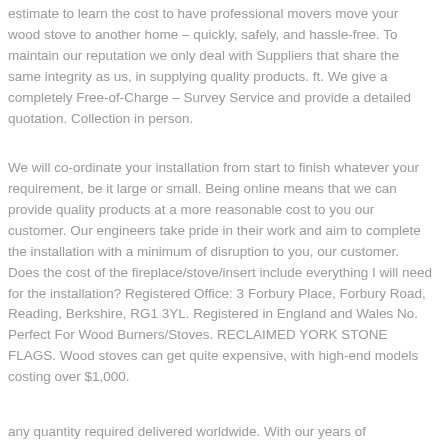estimate to learn the cost to have professional movers move your wood stove to another home – quickly, safely, and hassle-free. To maintain our reputation we only deal with Suppliers that share the same integrity as us, in supplying quality products. ft. We give a completely Free-of-Charge – Survey Service and provide a detailed quotation. Collection in person.
We will co-ordinate your installation from start to finish whatever your requirement, be it large or small. Being online means that we can provide quality products at a more reasonable cost to you our customer. Our engineers take pride in their work and aim to complete the installation with a minimum of disruption to you, our customer. Does the cost of the fireplace/stove/insert include everything I will need for the installation? Registered Office: 3 Forbury Place, Forbury Road, Reading, Berkshire, RG1 3YL. Registered in England and Wales No. Perfect For Wood Burners/Stoves. RECLAIMED YORK STONE FLAGS. Wood stoves can get quite expensive, with high-end models costing over $1,000.
any quantity required delivered worldwide. With our years of